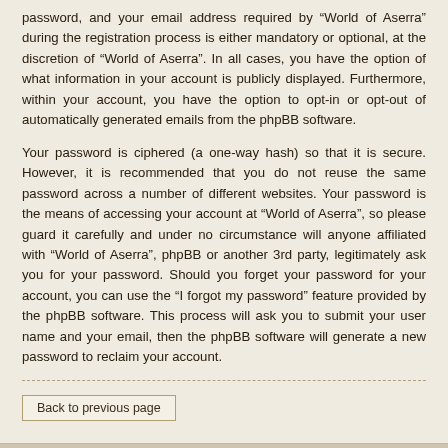password, and your email address required by “World of Aserra” during the registration process is either mandatory or optional, at the discretion of “World of Aserra”. In all cases, you have the option of what information in your account is publicly displayed. Furthermore, within your account, you have the option to opt-in or opt-out of automatically generated emails from the phpBB software.
Your password is ciphered (a one-way hash) so that it is secure. However, it is recommended that you do not reuse the same password across a number of different websites. Your password is the means of accessing your account at “World of Aserra”, so please guard it carefully and under no circumstance will anyone affiliated with “World of Aserra”, phpBB or another 3rd party, legitimately ask you for your password. Should you forget your password for your account, you can use the “I forgot my password” feature provided by the phpBB software. This process will ask you to submit your user name and your email, then the phpBB software will generate a new password to reclaim your account.
Back to previous page
Board index  Contact us  Delete cookies  All times are UTC-07:00
Powered by phpBB® Forum Software © phpBB Limited  Style by Arty · Update phpBB 3.2 by MrGaby